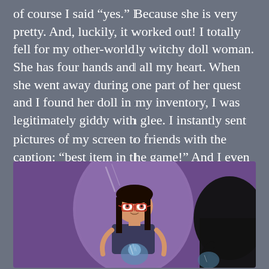of course I said “yes.” Because she is very pretty. And, luckily, it worked out! I totally fell for my other-worldly witchy doll woman. She has four hands and all my heart. When she went away during one part of her quest and I found her doll in my inventory, I was legitimately giddy with glee. I instantly sent pictures of my screen to friends with the caption: “best item in the game!” And I even made a meme about it:
[Figure (illustration): Animated character (Tina from Bob's Burgers) with dark hair and red glasses looking at herself in a mirror, holding something, purple background]